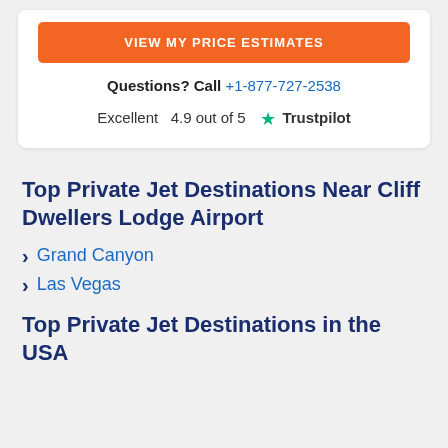[Figure (other): Orange call-to-action button reading VIEW MY PRICE ESTIMATES]
Questions? Call +1-877-727-2538
Excellent  4.9 out of 5  ★ Trustpilot
Top Private Jet Destinations Near Cliff Dwellers Lodge Airport
Grand Canyon
Las Vegas
Top Private Jet Destinations in the USA